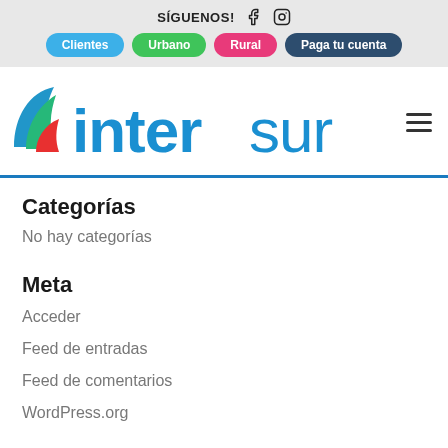SÍGUENOS! [Facebook icon] [Instagram icon]
Clientes | Urbano | Rural | Paga tu cuenta
[Figure (logo): Intersur company logo with colored wave graphic and blue text]
Categorías
No hay categorías
Meta
Acceder
Feed de entradas
Feed de comentarios
WordPress.org